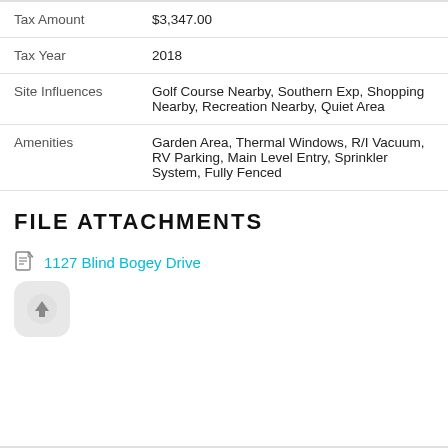| Field | Value |
| --- | --- |
| Tax Amount | $3,347.00 |
| Tax Year | 2018 |
| Site Influences | Golf Course Nearby, Southern Exp, Shopping Nearby, Recreation Nearby, Quiet Area |
| Amenities | Garden Area, Thermal Windows, R/I Vacuum, RV Parking, Main Level Entry, Sprinkler System, Fully Fenced |
FILE ATTACHMENTS
1127 Blind Bogey Drive